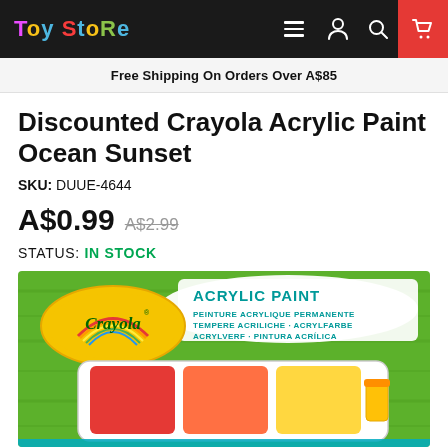Toy Store — navigation bar with hamburger menu, account, search, and cart icons
Free Shipping On Orders Over A$85
Discounted Crayola Acrylic Paint Ocean Sunset
SKU: DUUE-4644
A$0.99  A$2.99
STATUS: IN STOCK
[Figure (photo): Crayola Acrylic Paint Ocean Sunset product box showing paint bottles in red, orange, and yellow colors on a green background]